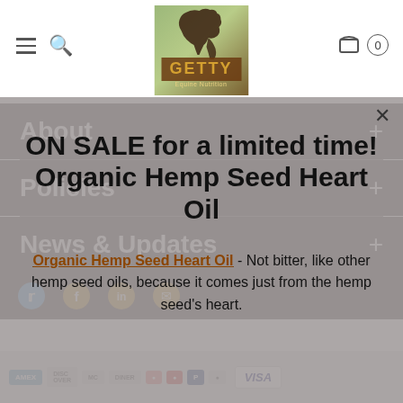[Figure (logo): Getty Equine Nutrition logo with horse silhouette on green/brown background]
About
Policies
News & Updates
ON SALE for a limited time! Organic Hemp Seed Heart Oil
Organic Hemp Seed Heart Oil - Not bitter, like other hemp seed oils, because it comes just from the hemp seed's heart.